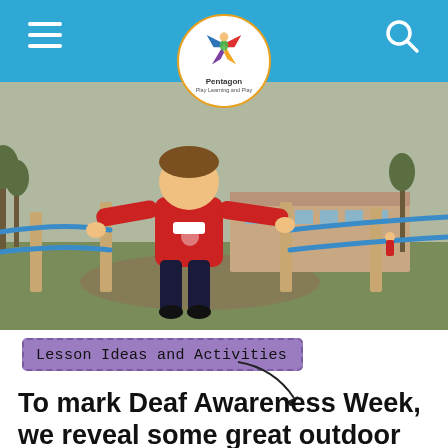Pentagon Play Learning and Play
[Figure (photo): A young boy in a red school sweatshirt playing on a rope-and-post outdoor playground structure, with a school building and grass in the background.]
Lesson Ideas and Activities
To mark Deaf Awareness Week, we reveal some great outdoor